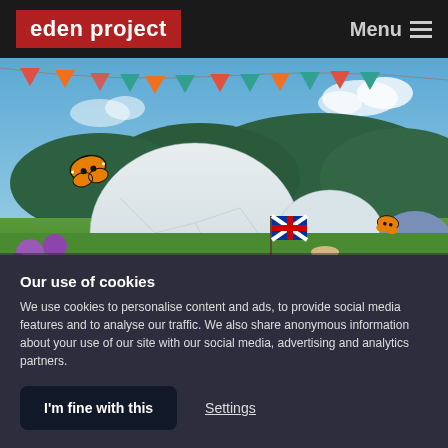eden project | Menu
[Figure (photo): Outdoor photo of Eden Project biomes (large geodesic dome structures) surrounded by green gardens with colourful flowers, bunting flags, a Union Jack flag, picnic food, and monarch butterflies under a blue sky.]
Our use of cookies
We use cookies to personalise content and ads, to provide social media features and to analyse our traffic. We also share anonymous information about your use of our site with our social media, advertising and analytics partners.
I'm fine with this | Settings